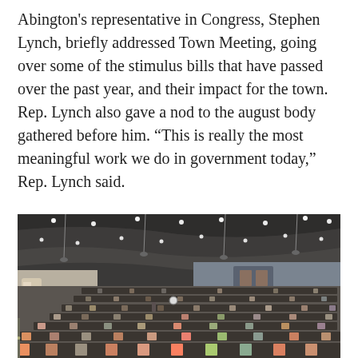Abington's representative in Congress, Stephen Lynch, briefly addressed Town Meeting, going over some of the stimulus bills that have passed over the past year, and their impact for the town. Rep. Lynch also gave a nod to the august body gathered before him. “This is really the most meaningful work we do in government today,” Rep. Lynch said.
[Figure (photo): Interior of a large auditorium with tiered seating, modern ceiling with recessed lighting and hanging fixtures, a stage area at the front, and attendees seated throughout the venue during a Town Meeting.]